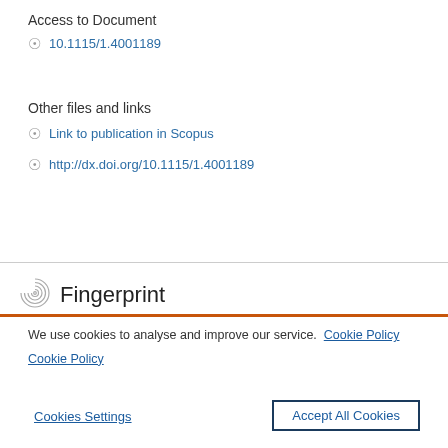Access to Document
10.1115/1.4001189
Other files and links
Link to publication in Scopus
http://dx.doi.org/10.1115/1.4001189
Fingerprint
We use cookies to analyse and improve our service. Cookie Policy
Cookies Settings
Accept All Cookies